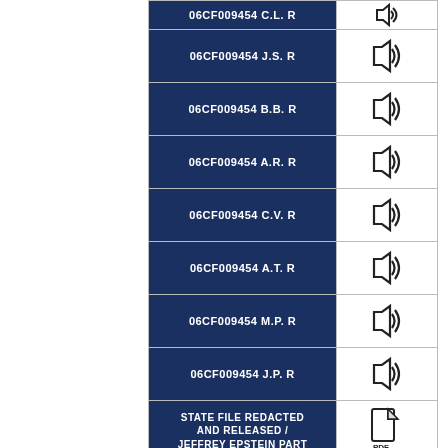| Document | Media |
| --- | --- |
| 06CF009454 C.L. R | [audio icon] |
| 06CF009454 J.S. R | [audio icon] |
| 06CF009454 B.B. R | [audio icon] |
| 06CF009454 A.R. R | [audio icon] |
| 06CF009454 C.V. R | [audio icon] |
| 06CF009454 A.T. R | [audio icon] |
| 06CF009454 M.P. R | [audio icon] |
| 06CF009454 J.P. R | [audio icon] |
| STATE FILE REDACTED AND RELEASED / JEFFREY EPSTEIN PART | [pdf icon] |